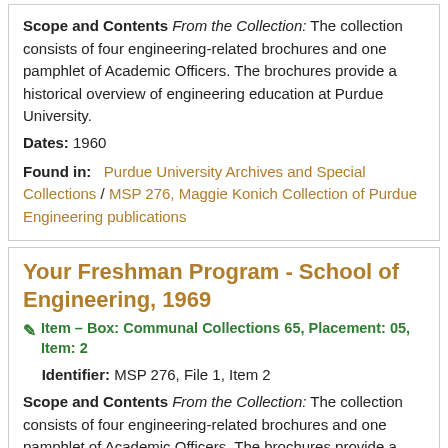Scope and Contents From the Collection: The collection consists of four engineering-related brochures and one pamphlet of Academic Officers. The brochures provide a historical overview of engineering education at Purdue University.
Dates: 1960
Found in: Purdue University Archives and Special Collections / MSP 276, Maggie Konich Collection of Purdue Engineering publications
Your Freshman Program - School of Engineering, 1969
Item — Box: Communal Collections 65, Placement: 05, Item: 2
Identifier: MSP 276, File 1, Item 2
Scope and Contents From the Collection: The collection consists of four engineering-related brochures and one pamphlet of Academic Officers. The brochures provide a historical overview of engineering education at Purdue University.